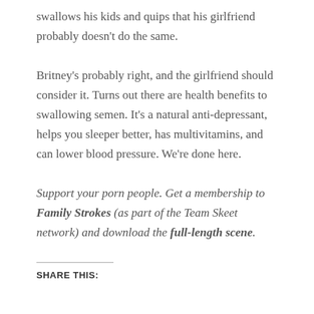swallows his kids and quips that his girlfriend probably doesn't do the same.
Britney's probably right, and the girlfriend should consider it. Turns out there are health benefits to swallowing semen. It's a natural anti-depressant, helps you sleeper better, has multivitamins, and can lower blood pressure. We're done here.
Support your porn people. Get a membership to Family Strokes (as part of the Team Skeet network) and download the full-length scene.
SHARE THIS: